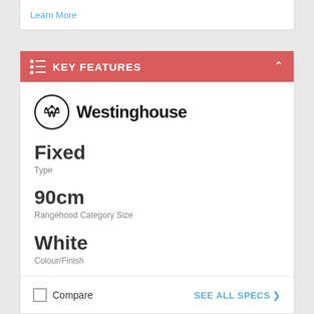Learn More
KEY FEATURES
[Figure (logo): Westinghouse logo with circle-W icon]
Fixed
Type
90cm
Rangehood Category Size
White
Colour/Finish
360m3/hr
Extraction Capacity
Compare
SEE ALL SPECS